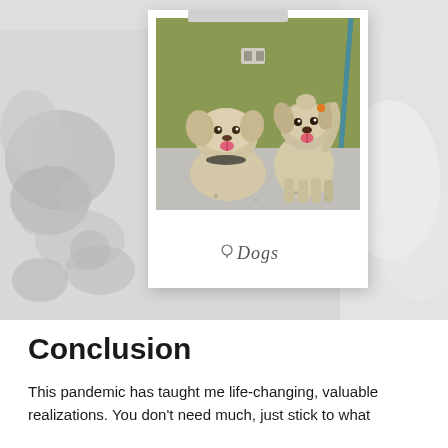[Figure (photo): A polaroid-style photo of two small fluffy dogs (Shih Tzu type) standing on a gray floor in front of a green wall. Both dogs have their tongues out and appear happy. The polaroid has a handwritten label 'Dogs' at the bottom. The background of the page shows blurred gray silhouettes of dogs.]
Conclusion
This pandemic has taught me life-changing, valuable realizations. You don't need much, just stick to what